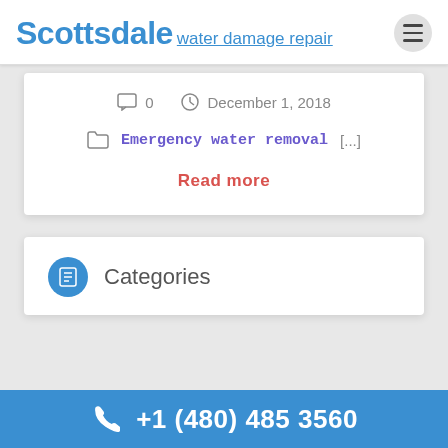Scottsdale water damage repair
0   December 1, 2018
Emergency water removal  [...]
Read more
Categories
+1 (480) 485 3560